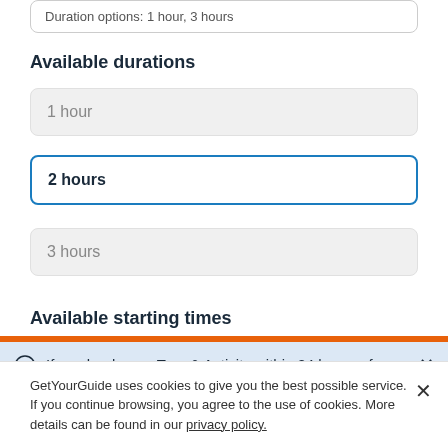Duration options: 1 hour, 3 hours
Available durations
1 hour
2 hours
3 hours
Available starting times
If you book your Tour & Activity within 24 hours of booking your easyJet flight you will purchase what is known as a Linked Travel Arrangement. This means
GetYourGuide uses cookies to give you the best possible service. If you continue browsing, you agree to the use of cookies. More details can be found in our privacy policy.